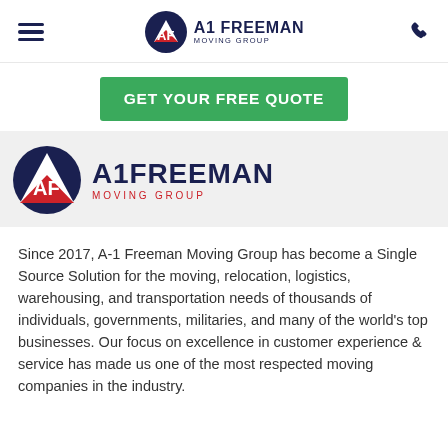A1 Freeman Moving Group
[Figure (logo): GET YOUR FREE QUOTE green button]
[Figure (logo): A1 Freeman Moving Group large logo with circular AF emblem and text]
Since 2017, A-1 Freeman Moving Group has become a Single Source Solution for the moving, relocation, logistics, warehousing, and transportation needs of thousands of individuals, governments, militaries, and many of the world's top businesses. Our focus on excellence in customer experience & service has made us one of the most respected moving companies in the industry.